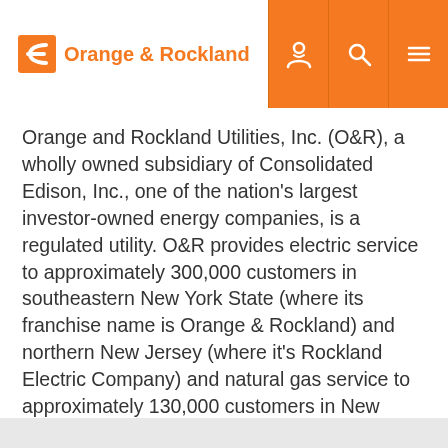Orange & Rockland
Orange and Rockland Utilities, Inc. (O&R), a wholly owned subsidiary of Consolidated Edison, Inc., one of the nation's largest investor-owned energy companies, is a regulated utility. O&R provides electric service to approximately 300,000 customers in southeastern New York State (where its franchise name is Orange & Rockland) and northern New Jersey (where it's Rockland Electric Company) and natural gas service to approximately 130,000 customers in New York.